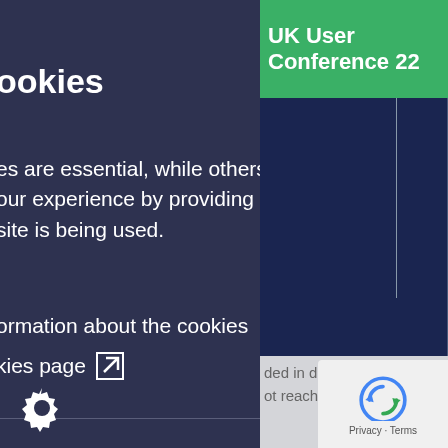[Figure (screenshot): Screenshot of a website with a cookie consent overlay on the left (dark navy background) overlapping content on the right (light gray background). The right side shows a green banner with 'UK User Conference 22', a dark blue image/box below it, and body text about discovery reports and devices. A reCAPTCHA widget appears in the bottom-right corner.]
ookies
es are essential, while others our experience by providing site is being used.
ormation about the cookies
kies page
ble core functionality. The operly without these bled by changing
UK User Conference 22
ded in discovery reports for ot reachable during the
evices they wish to add to overed devices, instead of ices automatically.
ed for all the major n Inventory and Device